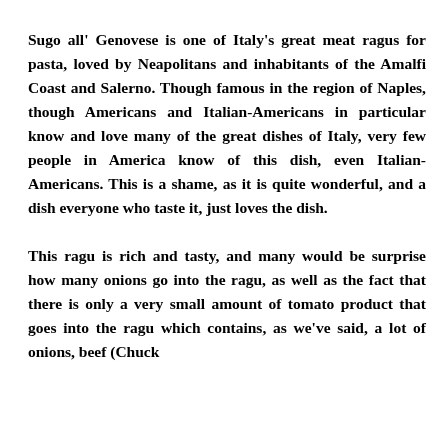Sugo all' Genovese is one of Italy's great meat ragus for pasta, loved by Neapolitans and inhabitants of the Amalfi Coast and Salerno. Though famous in the region of Naples, though Americans and Italian-Americans in particular know and love many of the great dishes of Italy, very few people in America know of this dish, even Italian-Americans. This is a shame, as it is quite wonderful, and a dish everyone who taste it, just loves the dish.

This ragu is rich and tasty, and many would be surprise how many onions go into the ragu, as well as the fact that there is only a very small amount of tomato product that goes into the ragu which contains, as we've said, a lot of onions, beef (Chuck